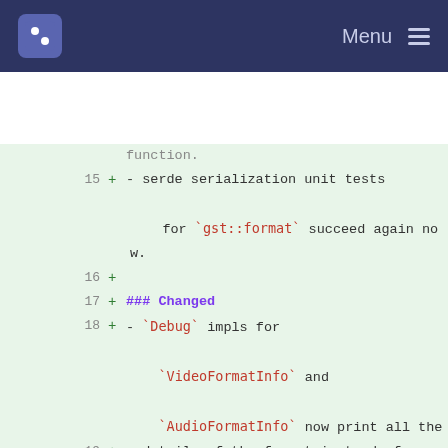Menu
15  + - serde serialization unit tests for `gst::format` succeed again now.
16  +
17  + ### Changed
18  + - `Debug` impls for `VideoFormatInfo` and `AudioFormatInfo` now print all the
19  +   details of the format instead of only the name, and the `Debug` impls for
20  +   `VideoInfo` and `AudioInfo` also print the format now.
21  +
8  22  ## [0.14.0] - 2019-06-24
9  23  ### Added
10 24  - Bindings for `GLSyncMeta`.
...  ...  @@ -502,7 +516,8 @@ specifically the [variant used by Rust](http://doc.crates.io/manifest.html#the-